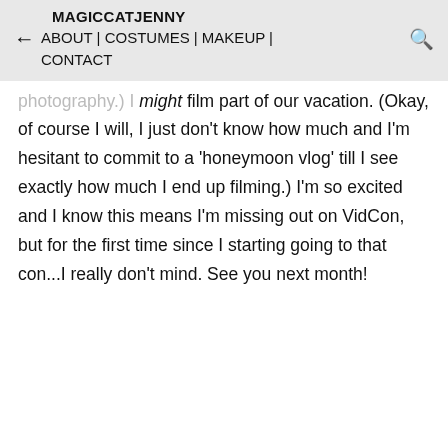MAGICCATJENNY ABOUT | COSTUMES | MAKEUP | CONTACT
photography.) I might film part of our vacation. (Okay, of course I will, I just don't know how much and I'm hesitant to commit to a 'honeymoon vlog' till I see exactly how much I end up filming.) I'm so excited and I know this means I'm missing out on VidCon, but for the first time since I starting going to that con...I really don't mind. See you next month!